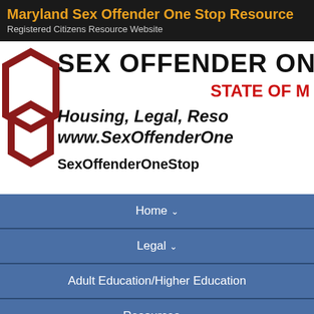Maryland Sex Offender One Stop Resource
Registered Citizens Resource Website
[Figure (screenshot): Sex Offender One Stop Resource website banner with dark red hexagon logo on left, large bold text 'SEX OFFENDER ONE' at top, 'STATE OF M' in red, italic bold text 'Housing, Legal, Reso' and 'www.SexOffenderOne' and 'SexOffenderOneStop' social handle]
Home ∨
Legal ∨
Adult Education/Higher Education
Resources ∨